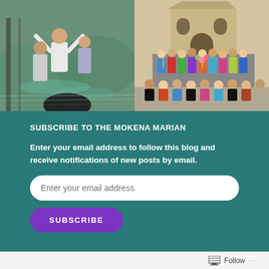[Figure (photo): Left photo: baptism scene with people in water, arms raised, wearing white clothing]
[Figure (photo): Right photo: large group of pilgrims posing in front of a stone church building]
SUBSCRIBE TO THE MOKENA MARIAN
Enter your email address to follow this blog and receive notifications of new posts by email.
Enter your email address
SUBSCRIBE
Follow